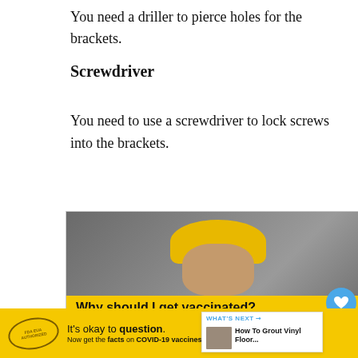You need a driller to pierce holes for the brackets.
Screwdriver
You need to use a screwdriver to lock screws into the brackets.
[Figure (photo): Advertisement photo showing a construction worker wearing a yellow hard hat and safety glasses, with 'IT'S UP TO YOU - COVID-19 VACCINATION' text overlay, followed by a yellow banner reading 'Why should I get vaccinated? Getting immunized against COVID-19 will protect most people from getting sick or becoming seriously ill. GetVaccineAnswers.org']
[Figure (infographic): Bottom yellow advertisement bar reading 'It's okay to question. Now get the facts on COVID-19 vaccines GetVaccineAnswers.org' on a dark background]